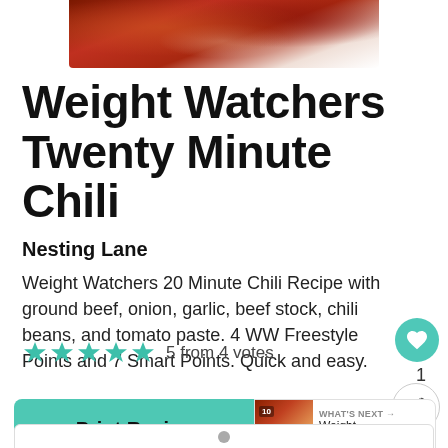[Figure (photo): Close-up photo of chili dish with ground beef and beans]
Weight Watchers Twenty Minute Chili
Nesting Lane
Weight Watchers 20 Minute Chili Recipe with ground beef, onion, garlic, beef stock, chili beans, and tomato paste. 4 WW Freestyle Points and 7 Smart Points. Quick and easy.
5 from 4 votes
Print Recipe
WHAT'S NEXT → Weight Watchers...
[Figure (photo): Thumbnail of Weight Watchers recipe]